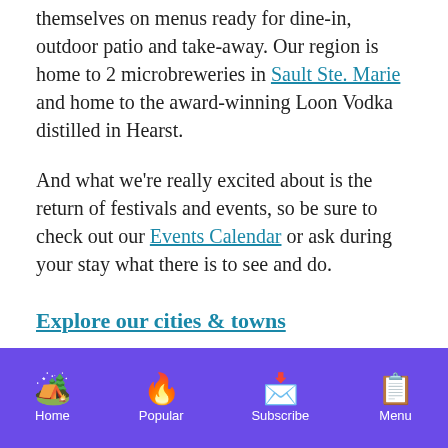themselves on menus ready for dine-in, outdoor patio and take-away. Our region is home to 2 microbreweries in Sault Ste. Marie and home to the award-winning Loon Vodka distilled in Hearst.
And what we're really excited about is the return of festivals and events, so be sure to check out our Events Calendar or ask during your stay what there is to see and do.
Explore our cities & towns
Home | Popular | Subscribe | Menu